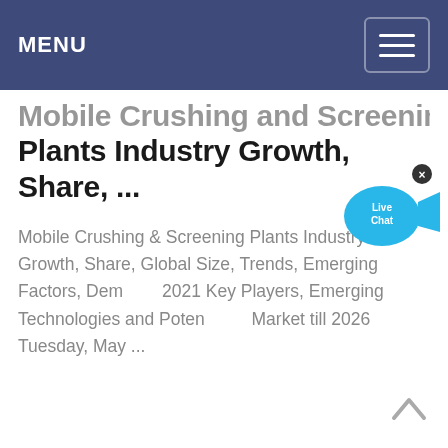MENU
Mobile Crushing and Screening Plants Industry Growth, Share, ...
Mobile Crushing & Screening Plants Industry Growth, Share, Global Size, Trends, Emerging Factors, Demand, 2021 Key Players, Emerging Technologies and Potential of Market till 2026 Tuesday, May ...